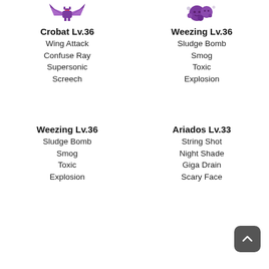[Figure (illustration): Pixel art sprite of Crobat (purple bat Pokémon)]
[Figure (illustration): Pixel art sprite of Weezing (purple gas Pokémon)]
Crobat Lv.36
Wing Attack
Confuse Ray
Supersonic
Screech
Weezing Lv.36
Sludge Bomb
Smog
Toxic
Explosion
Weezing Lv.36
Sludge Bomb
Smog
Toxic
Explosion
Ariados Lv.33
String Shot
Night Shade
Giga Drain
Scary Face